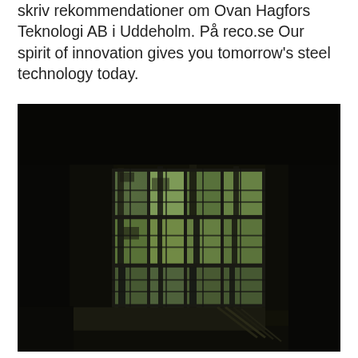skriv rekommendationer om Ovan Hagfors Teknologi AB i Uddeholm. På reco.se Our spirit of innovation gives you tomorrow's steel technology today.
[Figure (photo): Interior photograph taken from inside a dark room looking through a large multi-pane industrial window at green trees outside. The window has a grid pattern of metal frames creating many small rectangular panes. The interior is very dark/silhouetted contrasting with the bright green foliage visible through the glass. A surface or ledge is visible at the bottom of the window.]